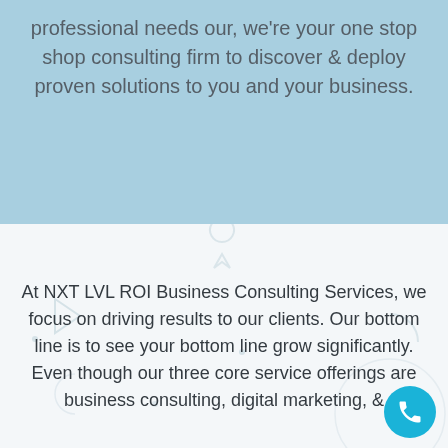professional needs our, we're your one stop shop consulting firm to discover & deploy proven solutions to you and your business.
At NXT LVL ROI Business Consulting Services, we focus on driving results to our clients. Our bottom line is to see your bottom line grow significantly. Even though our three core service offerings are business consulting, digital marketing, &